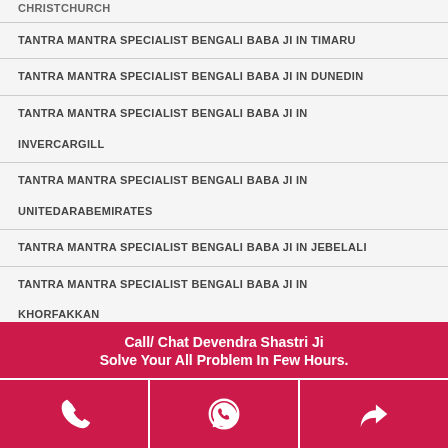CHRISTCHURCH
TANTRA MANTRA SPECIALIST BENGALI BABA JI IN TIMARU
TANTRA MANTRA SPECIALIST BENGALI BABA JI IN DUNEDIN
TANTRA MANTRA SPECIALIST BENGALI BABA JI IN INVERCARGILL
TANTRA MANTRA SPECIALIST BENGALI BABA JI IN UNITEDARABEMIRATES
TANTRA MANTRA SPECIALIST BENGALI BABA JI IN JEBELALI
TANTRA MANTRA SPECIALIST BENGALI BABA JI IN KHORFAKKAN
Call/ Chat Devendra Shastri Ji
Solve Your All Problem In Few Hours.